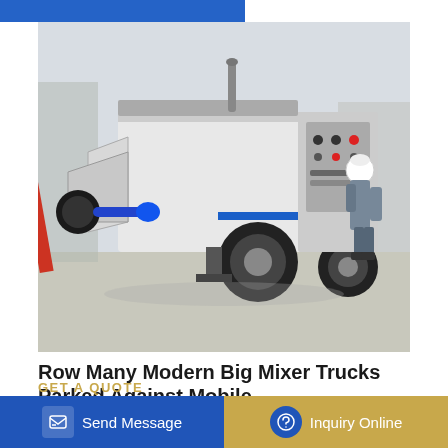[Figure (photo): A concrete pump machine (trailer-mounted stationary concrete pump) parked outdoors on a paved surface. A worker in grey overalls and white hard hat is inspecting the control panel on the right side of the machine. The machine is white and grey with a blue electrical connector and large black wheels. Construction equipment visible in background.]
Row Many Modern Big Mixer Trucks Parked Against Mobile
Row many modern big mixer trucks parked against mobile temporary concrete plant factory at new asphalt road construction site. Photo about gravel, bulk, compliance, blue -